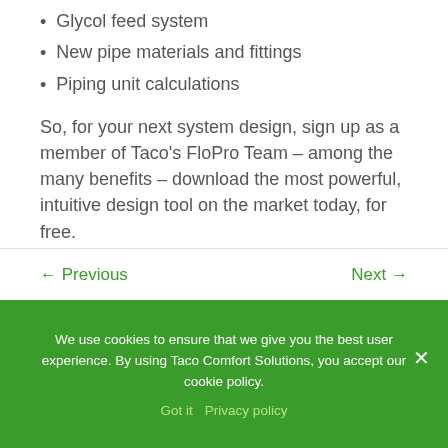Glycol feed system
New pipe materials and fittings
Piping unit calculations
So, for your next system design, sign up as a member of Taco's FloPro Team – among the many benefits – download the most powerful, intuitive design tool on the market today, for free.
← Previous    Next →
We use cookies to ensure that we give you the best user experience. By using Taco Comfort Solutions, you accept our cookie policy.
Got it  Privacy policy